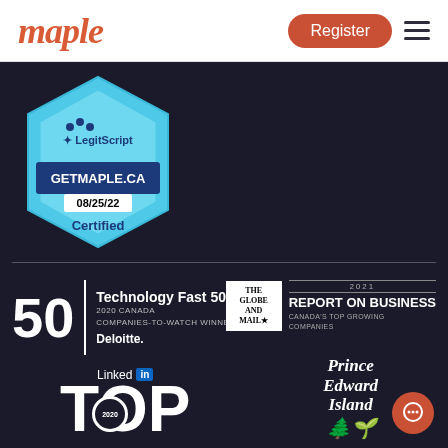[Figure (logo): Maple logo - orange/red text wordmark]
[Figure (other): Register button - red rounded pill button]
[Figure (logo): LegitScript Certified badge for GETMAPLE.CA, dated 08/25/22, hexagonal blue badge]
[Figure (logo): Deloitte Technology Fast 50 - 2020 Canada Companies-to-Watch Winner badge with large 50]
[Figure (logo): The Globe and Mail - 2021 Report on Business Canada's Top Growing Companies badge]
[Figure (logo): LinkedIn Top 2020 badge]
[Figure (logo): Prince Edward Island logo with mushroom/tree icons]
[Figure (other): Red chat/message button circle in bottom right]